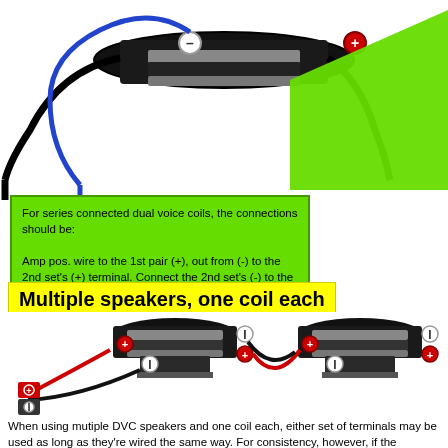[Figure (schematic): Diagram of a dual voice coil speaker (subwoofer) with black and blue wires connected to terminals labeled with – (minus/white circle) and + (plus/red circle). A large green triangle/arrow points down toward a green callout box.]
For series connected dual voice coils, the connections should be:

Amp pos. wire to the 1st pair (+), out from (-) to the 2nd set's (+) terminal. Connect the 2nd set's (-) to the amp ground terminal. This is the correct polarity for the voice coils and ensures the magnetic field polarities are correct.
Multiple speakers, one coil each
[Figure (schematic): Diagram of two subwoofer speakers connected in parallel with red (positive) and black (negative) wires. Each speaker has terminals labeled with + (red circle) and – (white circle with I). An amp terminal block is shown at lower left with red (+) and black (-) connections.]
When using mutiple DVC speakers and one coil each, either set of terminals may be used as long as they're wired the same way. For consistency, however, if the terminals are labeled you may want the